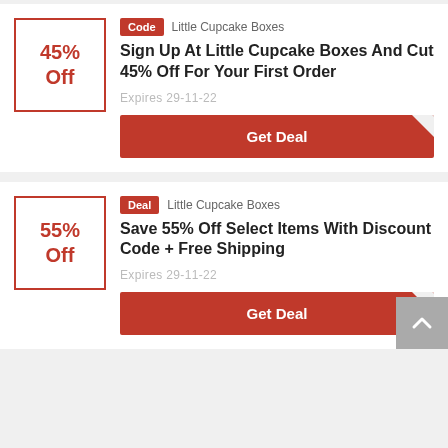[Figure (screenshot): Coupon card: 45% Off box, Code badge, Little Cupcake Boxes, deal title, expires date, Get Deal button]
[Figure (screenshot): Coupon card: 55% Off box, Deal badge, Little Cupcake Boxes, deal title, expires date, Get Deal button (partially visible)]